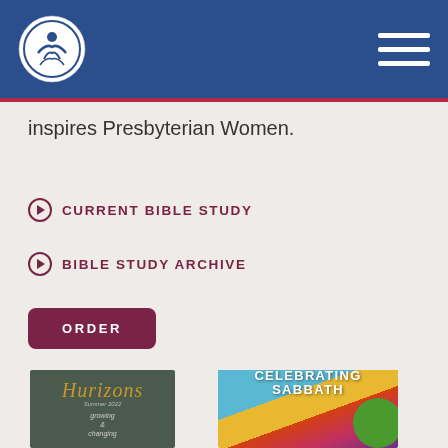Presbyterian Women — navigation header with logo and menu
inspires Presbyterian Women.
CURRENT BIBLE STUDY
BIBLE STUDY ARCHIVE
ORDER
[Figure (photo): Two book covers: Horizons magazine (growing & changing issue) and Celebrating Sabbath 2022-2023 PW Horizons Bible Study]